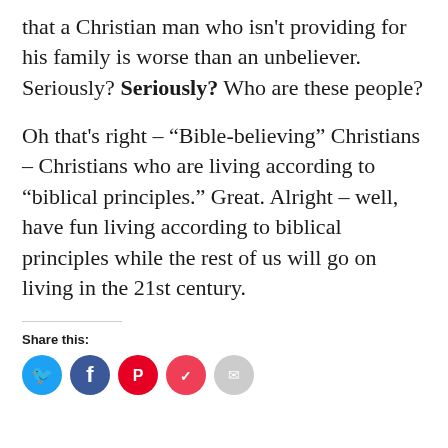that a Christian man who isn't providing for his family is worse than an unbeliever. Seriously? Seriously? Who are these people?
Oh that's right – "Bible-believing" Christians – Christians who are living according to "biblical principles." Great. Alright – well, have fun living according to biblical principles while the rest of us will go on living in the 21st century.
Share this: